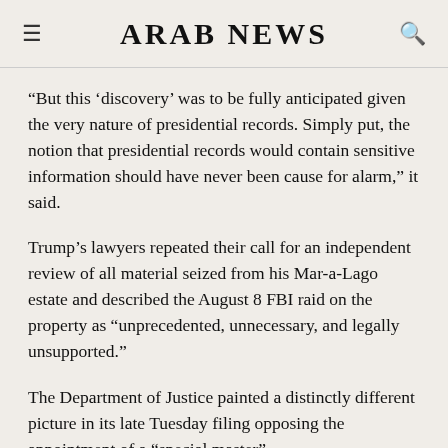ARAB NEWS
“But this ‘discovery’ was to be fully anticipated given the very nature of presidential records. Simply put, the notion that presidential records would contain sensitive information should have never been cause for alarm,” it said.
Trump’s lawyers repeated their call for an independent review of all material seized from his Mar-a-Lago estate and described the August 8 FBI raid on the property as “unprecedented, unnecessary, and legally unsupported.”
The Department of Justice painted a distinctly different picture in its late Tuesday filing opposing the appointment of a “special master”